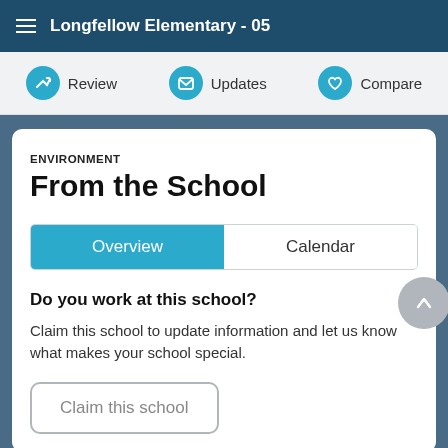Longfellow Elementary - 05
Review | Updates | Compare
ENVIRONMENT
From the School
Overview | Calendar
Do you work at this school?
Claim this school to update information and let us know what makes your school special.
Claim this school